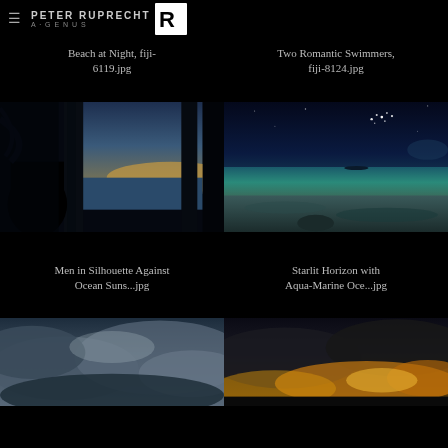PETER RUPRECHT
Beach at Night, fiji-6119.jpg
Two Romantic Swimmers, fiji-8124.jpg
[Figure (photo): Silhouette of men against ocean sunset, dark interior framing, palm trees visible, twilight sky with orange and blue tones]
[Figure (photo): Starlit night sky over calm aqua-marine ocean, sandy beach in foreground, stars visible in deep blue sky]
Men in Silhouette Against Ocean Suns...jpg
Starlit Horizon with Aqua-Marine Oce...jpg
[Figure (photo): Dramatic cloudy sky with blue-grey clouds, possibly stormy seascape]
[Figure (photo): Dramatic sky with golden-orange clouds and dark storm clouds at dusk or dawn]